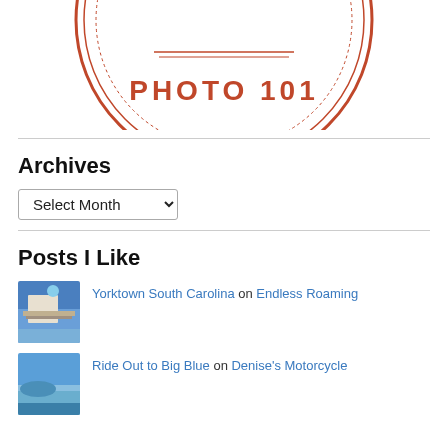[Figure (logo): Circular stamp logo with text 'PHOTO 101' in orange/brick red color, with concentric rings and dashed inner border]
Archives
Select Month dropdown
Posts I Like
[Figure (photo): Thumbnail photo of a dock or marina with a ship/vessel under blue sky]
Yorktown South Carolina on Endless Roaming
[Figure (photo): Thumbnail photo with blue sky and landscape]
Ride Out to Big Blue on Denise's Motorcycle